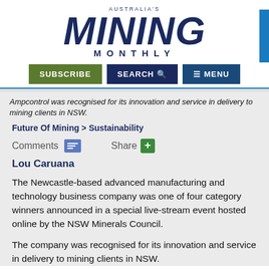[Figure (logo): Australia's Mining Monthly logo with bold italic navy text and navigation buttons (SUBSCRIBE, SEARCH, MENU)]
Ampcontrol was recognised for its innovation and service in delivery to mining clients in NSW.
Future Of Mining > Sustainability
Comments   Share
Lou Caruana
The Newcastle-based advanced manufacturing and technology business company was one of four category winners announced in a special live-stream event hosted online by the NSW Minerals Council.
The company was recognised for its innovation and service in delivery to mining clients in NSW.